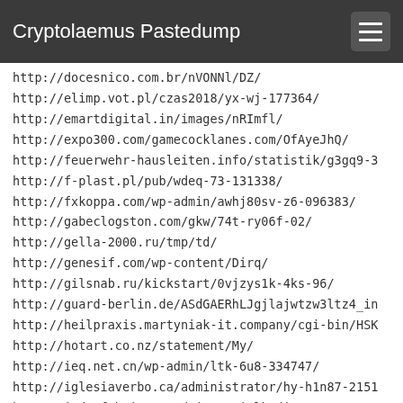Cryptolaemus Pastedump
http://docesnico.com.br/nVONNl/DZ/
http://elimp.vot.pl/czas2018/yx-wj-177364/
http://emartdigital.in/images/nRImfl/
http://expo300.com/gamecocklanes.com/OfAyeJhQ/
http://feuerwehr-hausleiten.info/statistik/g3gq9-3
http://f-plast.pl/pub/wdeq-73-131338/
http://fxkoppa.com/wp-admin/awhj80sv-z6-096383/
http://gabeclogston.com/gkw/74t-ry06f-02/
http://gella-2000.ru/tmp/td/
http://genesif.com/wp-content/Dirq/
http://gilsnab.ru/kickstart/0vjzys1k-4ks-96/
http://guard-berlin.de/ASdGAERhLJgjlajwtzw3ltz4_in
http://heilpraxis.martyniak-it.company/cgi-bin/HSK
http://hotart.co.nz/statement/My/
http://ieq.net.cn/wp-admin/ltk-6u8-334747/
http://iglesiaverbo.ca/administrator/hy-h1n87-2151
http://indusfab.in/wp-admin/8nai-lkqdi-412096/
http://innovativewebsolution.in/css/CHy/
http://insidepro.id/wp-content/tltwiaca_idr_98/